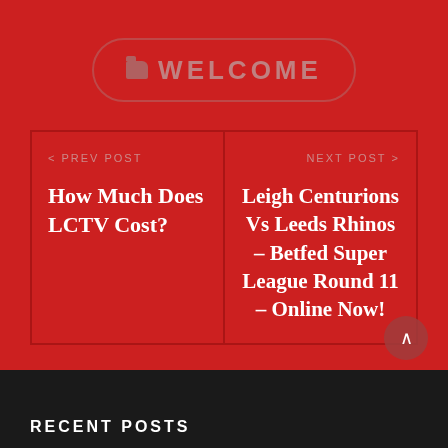WELCOME
< PREV POST
How Much Does LCTV Cost?
NEXT POST >
Leigh Centurions Vs Leeds Rhinos – Betfed Super League Round 11 – Online Now!
RECENT POSTS